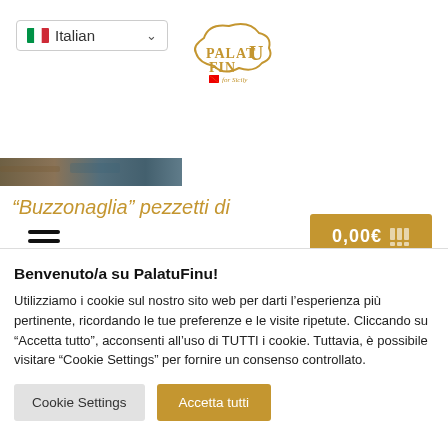[Figure (screenshot): Language selector dropdown showing Italian flag and 'Italian' text with chevron]
[Figure (logo): PalatuFinu for Sicily logo in gold color with Sicily island outline]
[Figure (other): Hamburger menu icon with three horizontal lines]
[Figure (other): Cart button showing 0,00€ with cart icon on golden background]
[Figure (photo): Partial product image strip showing food photo]
“Buzzonaglia” pezzetti di
Benvenuto/a su PalatuFinu!
Utilizziamo i cookie sul nostro sito web per darti l’esperienza più pertinente, ricordando le tue preferenze e le visite ripetute. Cliccando su “Accetta tutto”, acconsenti all’uso di TUTTI i cookie. Tuttavia, è possibile visitare “Cookie Settings” per fornire un consenso controllato.
Cookie Settings
Accetta tutti